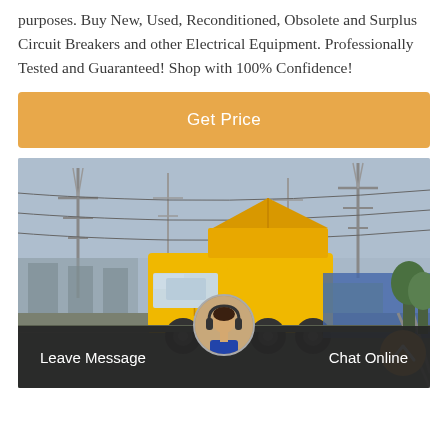purposes. Buy New, Used, Reconditioned, Obsolete and Surplus Circuit Breakers and other Electrical Equipment. Professionally Tested and Guaranteed! Shop with 100% Confidence!
Get Price
[Figure (photo): Yellow ISUZU truck at an electrical substation with power line towers in the background]
Leave Message
Chat Online